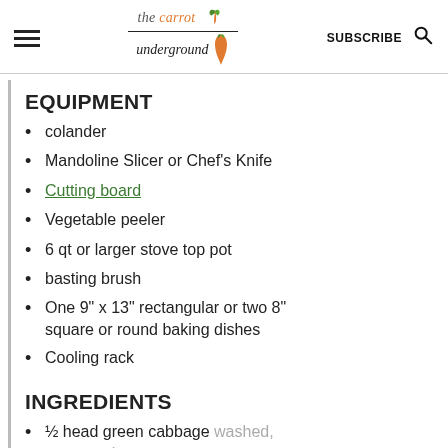the carrot underground | SUBSCRIBE
EQUIPMENT
colander
Mandoline Slicer or Chef's Knife
Cutting board
Vegetable peeler
6 qt or larger stove top pot
basting brush
One 9" x 13" rectangular or two 8" square or round baking dishes
Cooling rack
INGREDIENTS
½ head green cabbage washed, separate leaves